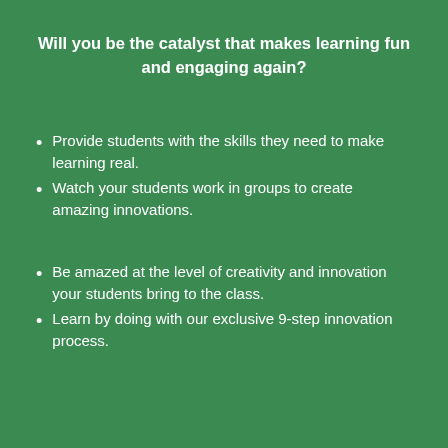Will you be the catalyst that makes learning fun and engaging again?
Provide students with the skills they need to make learning real.
Watch your students work in groups to create amazing innovations.
Be amazed at the level of creativity and innovation your students bring to the class.
Learn by doing with our exclusive 9-step innovation process.